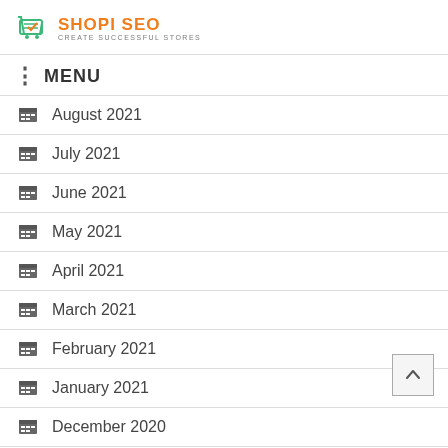[Figure (logo): Shopi SEO logo with shopping cart icon, orange text 'SHOPI SEO' and subtitle 'CREATE SUCCESSFUL STORES']
MENU
August 2021
July 2021
June 2021
May 2021
April 2021
March 2021
February 2021
January 2021
December 2020
November 2020